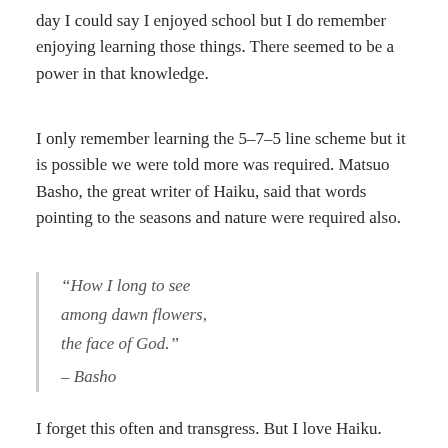day I could say I enjoyed school but I do remember enjoying learning those things. There seemed to be a power in that knowledge.
I only remember learning the 5–7–5 line scheme but it is possible we were told more was required. Matsuo Basho, the great writer of Haiku, said that words pointing to the seasons and nature were required also.
“How I long to see
among dawn flowers,
the face of God.”
– Basho
I forget this often and transgress. But I love Haiku. And